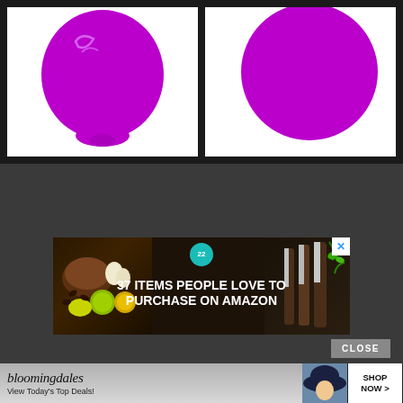[Figure (photo): Two product images side by side: left shows a purple nail polish drop/blob with shine highlights on white background; right shows a solid purple circle on white background. Dark border/frame around each.]
[Figure (photo): Advertisement banner: '37 ITEMS PEOPLE LOVE TO PURCHASE ON AMAZON' with food/kitchen images on dark background, teal badge with '22', and an X close button. Below it a CLOSE button.]
[Figure (photo): Bloomingdale's advertisement banner: logo, 'View Today's Top Deals!' text, model with hat, and 'SHOP NOW >' button.]